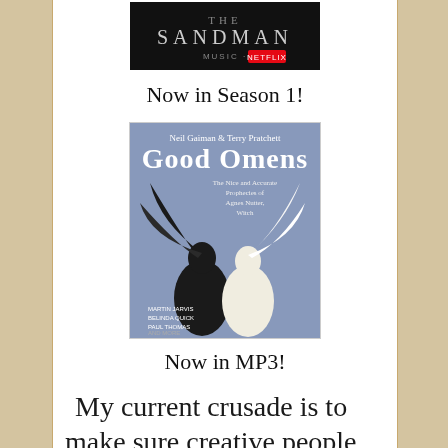[Figure (photo): The Sandman Netflix logo on a black background]
Now in Season 1!
[Figure (photo): Good Omens audiobook cover by Neil Gaiman & Terry Pratchett, showing two figures back-to-back with angel wings (white) and demon wings (black)]
Now in MP3!
My current crusade is to make sure creative people have wills. Read the blog post about it, and see a